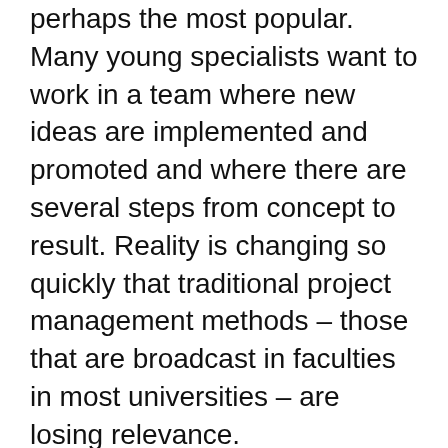perhaps the most popular. Many young specialists want to work in a team where new ideas are implemented and promoted and where there are several steps from concept to result. Reality is changing so quickly that traditional project management methods – those that are broadcast in faculties in most universities – are losing relevance.
About us
Contact
Privacy Policy & Cookies
ATTENTION TO RIGHT HOLDERS! All